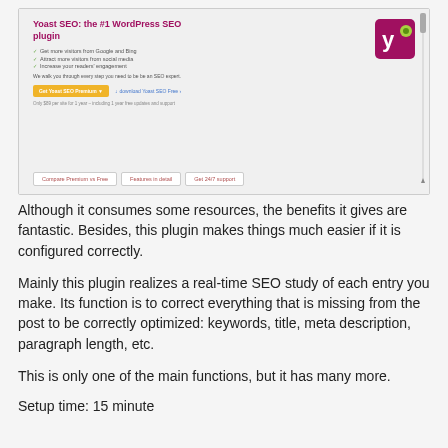[Figure (screenshot): Screenshot of Yoast SEO plugin page showing the Yoast logo, plugin title 'Yoast SEO: the #1 WordPress SEO plugin', bullet points, call-to-action buttons, and tab navigation.]
Although it consumes some resources, the benefits it gives are fantastic. Besides, this plugin makes things much easier if it is configured correctly.
Mainly this plugin realizes a real-time SEO study of each entry you make. Its function is to correct everything that is missing from the post to be correctly optimized: keywords, title, meta description, paragraph length, etc.
This is only one of the main functions, but it has many more.
Setup time: 15 minute